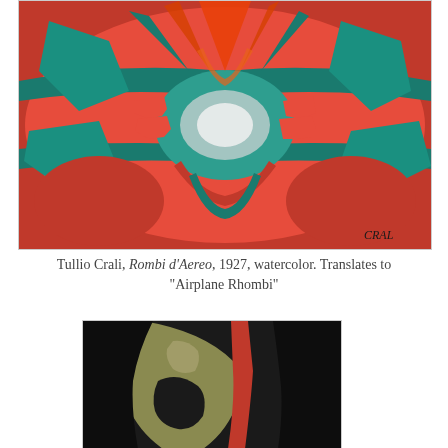[Figure (illustration): Tullio Crali, Rombi d'Aereo, 1927, watercolor. Abstract futurist composition with geometric shapes in red, orange, and teal/green colors, arranged in a radial pattern suggesting an aerial view of an airplane. Artist signature 'CRAL' visible in bottom right.]
Tullio Crali, Rombi d'Aereo, 1927, watercolor. Translates to "Airplane Rhombi"
[Figure (illustration): Second artwork showing an abstract composition with black, red, olive/khaki, and dark tones in curved and angular forms.]